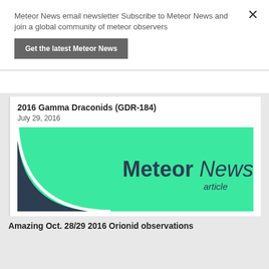Meteor News email newsletter Subscribe to Meteor News and join a global community of meteor observers
Get the latest Meteor News
2016 Gamma Draconids (GDR-184)
July 29, 2016
[Figure (logo): MeteorNews article logo on green background with dark navy quarter-circle on the left]
Amazing Oct. 28/29 2016 Orionid observations